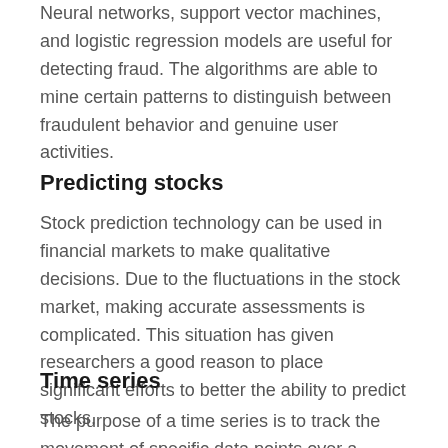Neural networks, support vector machines, and logistic regression models are useful for detecting fraud. The algorithms are able to mine certain patterns to distinguish between fraudulent behavior and genuine user activities.
Predicting stocks
Stock prediction technology can be used in financial markets to make qualitative decisions. Due to the fluctuations in the stock market, making accurate assessments is complicated. This situation has given researchers a good reason to place significant efforts to better the ability to predict stocks.
Time series
The purpose of a time series is to track the movement of specific data points over a period